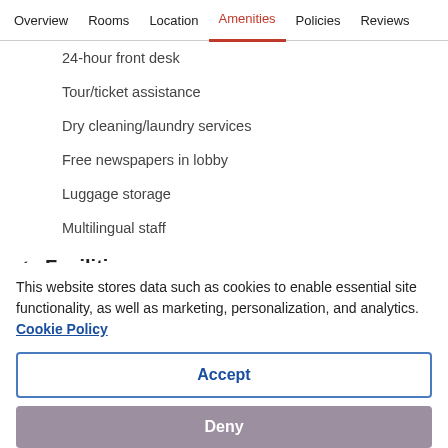Overview  Rooms  Location  Amenities  Policies  Reviews
24-hour front desk
Tour/ticket assistance
Dry cleaning/laundry services
Free newspapers in lobby
Luggage storage
Multilingual staff
✓ Facilities
Built in 2017
This website stores data such as cookies to enable essential site functionality, as well as marketing, personalization, and analytics. Cookie Policy
Accept
Deny